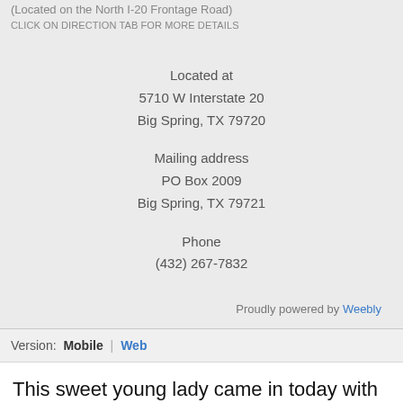(Located on the North I-20 Frontage Road)
CLICK ON DIRECTION TAB FOR MORE DETAILS
Located at
5710 W Interstate 20
Big Spring, TX 79720

Mailing address
PO Box 2009
Big Spring, TX 79721

Phone
(432) 267-7832
Proudly powered by Weebly
Version:  Mobile  |  Web
This sweet young lady came in today with her